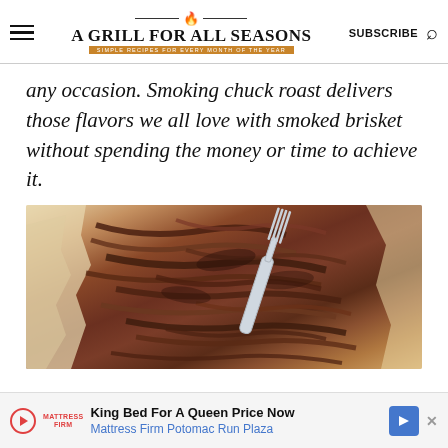A GRILL FOR ALL SEASONS — SIMPLE RECIPES FOR EVERY MONTH OF THE YEAR | SUBSCRIBE
any occasion. Smoking chuck roast delivers those flavors we all love with smoked brisket without spending the money or time to achieve it.
[Figure (photo): Close-up photo of pulled/shredded smoked chuck roast beef on aluminum foil with a fork being used to pull the meat apart. The meat shows dark smoky bark and tender shredded strands.]
King Bed For A Queen Price Now Mattress Firm Potomac Run Plaza